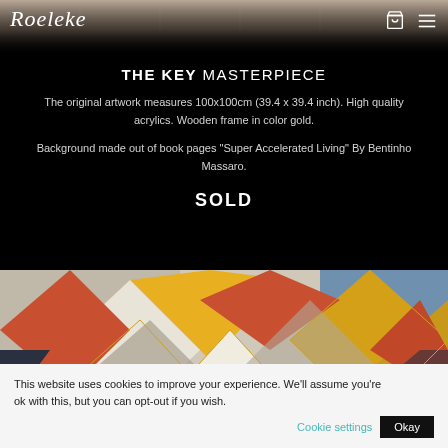[Figure (photo): Top portion of an abstract artwork showing book pages background with geometric patterns, partially visible]
Roeleke
THE KEY MASTERPIECE
The original artwork measures 100x100cm (39.4 x 39.4 inch). High quality acrylics. Wooden frame in color gold.
Background made out of book pages "Super Accelerated Living" By Bentinho Massaro.
SOLD
[Figure (photo): Abstract geometric artwork with colorful diamond/rhombus shapes in yellow, orange, red, gray, white and blue colors arranged in a repeating diagonal pattern]
This website uses cookies to improve your experience. We'll assume you're ok with this, but you can opt-out if you wish.  Cookie settings  Okay